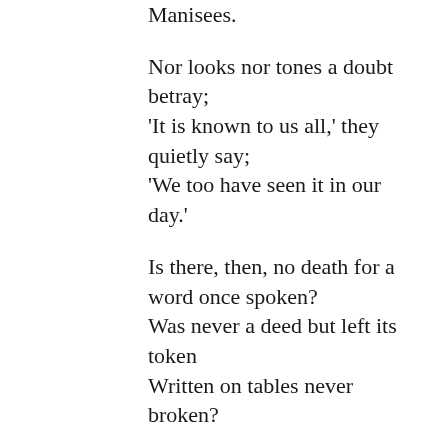Manisees.

Nor looks nor tones a doubt betray;
'It is known to us all,' they quietly say;
'We too have seen it in our day.'

Is there, then, no death for a word once spoken?
Was never a deed but left its token
Written on tables never broken?

Do the elements subtle reflections give?
Do pictures of all the ages live
On Nature's infinite negative,

Which, half in sport, in malice half,
She shows at times, with shudder or laugh,